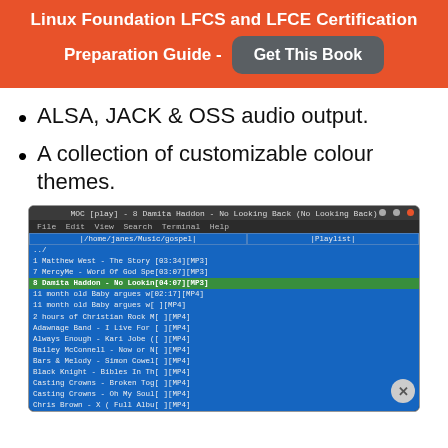Linux Foundation LFCS and LFCE Certification Preparation Guide - Get This Book
ALSA, JACK & OSS audio output.
A collection of customizable colour themes.
[Figure (screenshot): Screenshot of MOC music player terminal application showing a playlist with gospel music files. Title bar reads 'MOC [play] - 8 Damita Haddon - No Looking Back (No Looking Back)'. File browser shows /home/janes/Music/gospel directory with MP3 and MP4 files listed. Currently playing track is highlighted in green: '8 Damita Haddon - No Lookin[04:07][MP3]'. Other tracks visible include Matthew West - The Story, MercyMe - Word of God Spe, and various MP4 files.]